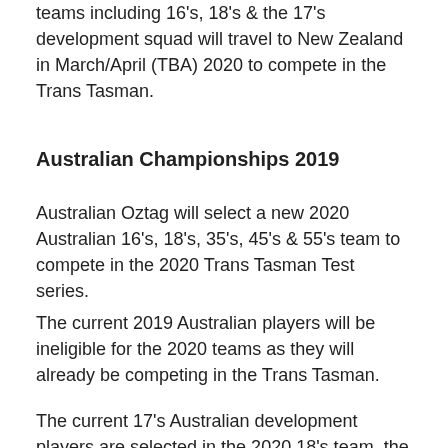teams including 16's, 18's & the 17's development squad will travel to New Zealand in March/April (TBA) 2020 to compete in the Trans Tasman.
Australian Championships 2019
Australian Oztag will select a new 2020 Australian 16's, 18's, 35's, 45's & 55's team to compete in the 2020 Trans Tasman Test series.
The current 2019 Australian players will be ineligible for the 2020 teams as they will already be competing in the Trans Tasman.
The current 17's Australian development players are selected in the 2020 18's team, the vacated positions in the 17's team will be filled with new members from the 2019 Australian Championships. This new team will be the Australian 18's.